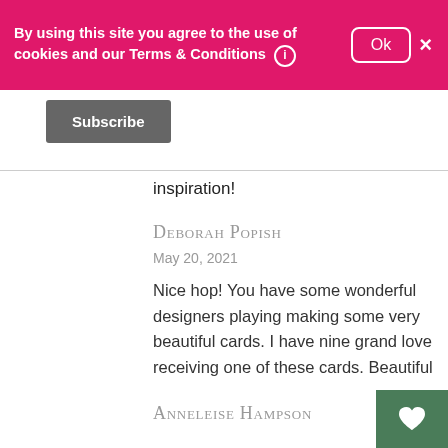By using this site you agree to the use of cookies and our Terms & Conditions
Ok
×
Subscribe
inspiration!
Deborah Popish
May 20, 2021
Nice hop! You have some wonderful designers playing making some very beautiful cards. I have nine grand love receiving one of these cards. Beautiful
Anneleise Hampson